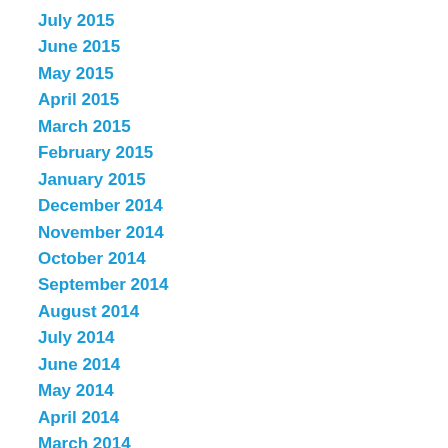July 2015
June 2015
May 2015
April 2015
March 2015
February 2015
January 2015
December 2014
November 2014
October 2014
September 2014
August 2014
July 2014
June 2014
May 2014
April 2014
March 2014
February 2014
January 2014
December 2013